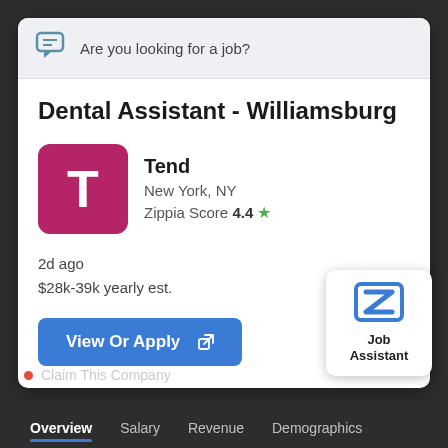Are you looking for a job?
Dental Assistant - Williamsburg
Tend
New York, NY
Zippia Score 4.4 ★
2d ago
$28k-39k yearly est.
View Or Apply
Claim This Company
Overview   Salary   Revenue   Demographics
[Figure (logo): Zippia Job Assistant widget with Z logo in blue]